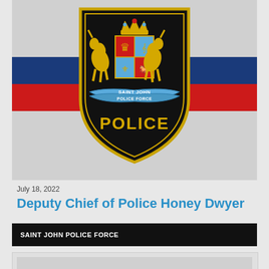[Figure (logo): Saint John Police Force badge/crest on a background with blue and red horizontal stripes. The badge is a black shield shape with a gold/yellow royal coat of arms featuring two horses, a crown, and a quartered shield. A blue banner reads 'SAINT JOHN POLICE FORCE'. Below the crest the word 'POLICE' appears in large gold letters.]
July 18, 2022
Deputy Chief of Police Honey Dwyer
SAINT JOHN POLICE FORCE